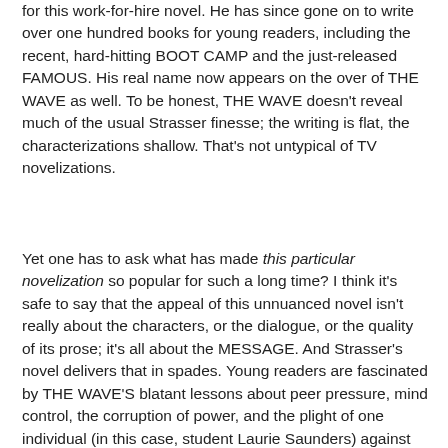for this work-for-hire novel. He has since gone on to write over one hundred books for young readers, including the recent, hard-hitting BOOT CAMP and the just-released FAMOUS. His real name now appears on the over of THE WAVE as well. To be honest, THE WAVE doesn't reveal much of the usual Strasser finesse; the writing is flat, the characterizations shallow. That's not untypical of TV novelizations.
Yet one has to ask what has made this particular novelization so popular for such a long time? I think it's safe to say that the appeal of this unnuanced novel isn't really about the characters, or the dialogue, or the quality of its prose; it's all about the MESSAGE. And Strasser's novel delivers that in spades. Young readers are fascinated by THE WAVE'S blatant lessons about peer pressure, mind control, the corruption of power, and the plight of one individual (in this case, student Laurie Saunders) against the system. Another factor in the book's popularity is that the 1981 film is still shown in schools, and the novelization continues to be assigned for book reports. I was fascinated to learn that THE WAVE has struck a particular chord in Germany. In an article